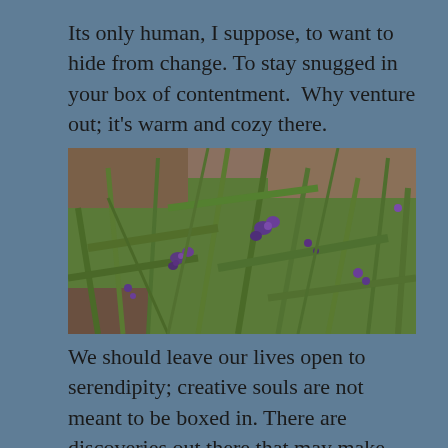Its only human, I suppose, to want to hide from change. To stay snugged in your box of contentment.  Why venture out; it's warm and cozy there.
[Figure (photo): Close-up photograph of lavender plants with purple flowers and green stems against a blurred brown background.]
We should leave our lives open to serendipity; creative souls are not meant to be boxed in. There are discoveries out there that may make